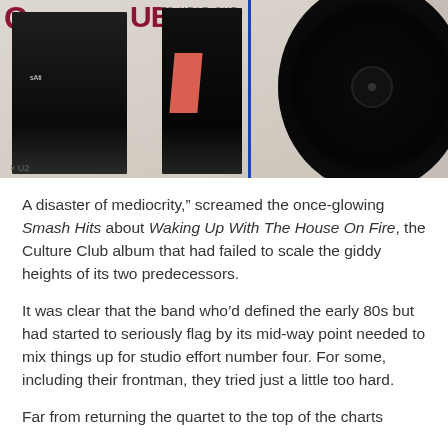[Figure (photo): Album cover of Culture Club 'Waking Up With The House On Fire' showing two band members in black outfits against a light background with a blue vertical divider, alongside a vinyl record]
A disaster of mediocrity," screamed the once-glowing Smash Hits about Waking Up With The House On Fire, the Culture Club album that had failed to scale the giddy heights of its two predecessors.
It was clear that the band who'd defined the early 80s but had started to seriously flag by its mid-way point needed to mix things up for studio effort number four. For some, including their frontman, they tried just a little too hard.
Far from returning the quartet to the top of the charts